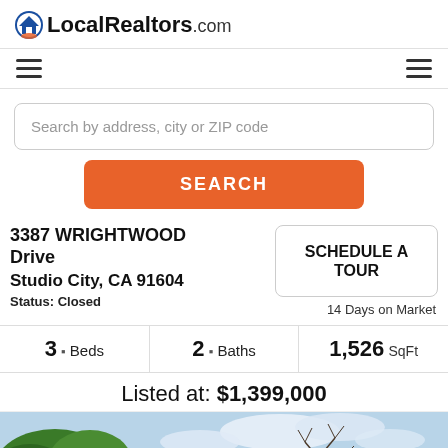LocalRealtors.com
Search by address, city or ZIP code
SEARCH
3387 WRIGHTWOOD Drive
Studio City, CA 91604
Status: Closed
SCHEDULE A TOUR
14 Days on Market
3 Beds   2 Baths   1,526 SqFt
Listed at: $1,399,000
[Figure (photo): Exterior photo of property with trees and blue sky]